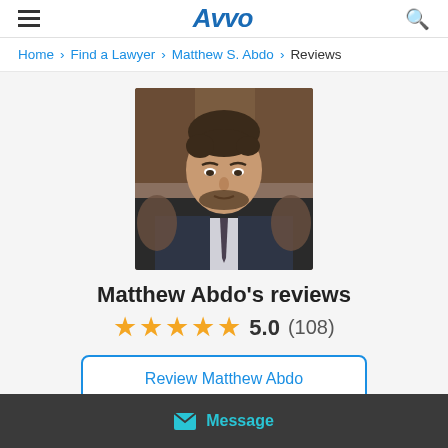AVVO
Home > Find a Lawyer > Matthew S. Abdo > Reviews
[Figure (photo): Professional headshot photo of lawyer Matthew Abdo wearing a suit and tie]
Matthew Abdo's reviews
5.0 (108) — 5 star rating
Review Matthew Abdo
Message